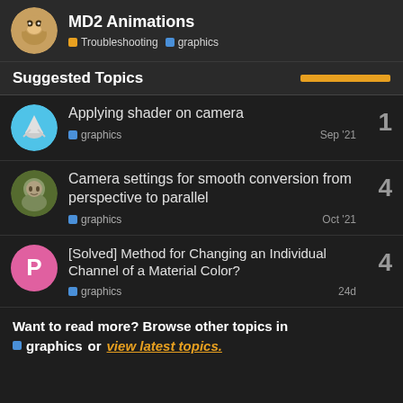MD2 Animations — Troubleshooting, graphics
Suggested Topics
Applying shader on camera — graphics — Sep '21 — 1 reply
Camera settings for smooth conversion from perspective to parallel — graphics — Oct '21 — 4 replies
[Solved] Method for Changing an Individual Channel of a Material Color? — graphics — 24d — 4 replies
Want to read more? Browse other topics in graphics or view latest topics.